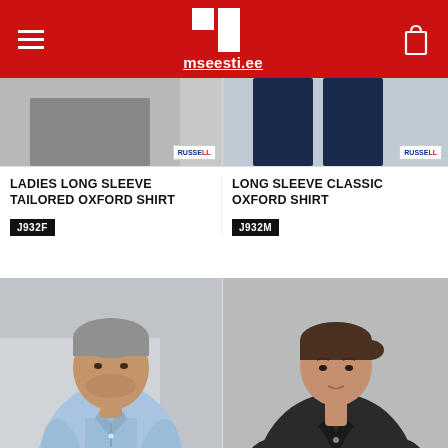mseesti.ee
[Figure (photo): Partially visible product photo left - Ladies Long Sleeve Tailored Oxford Shirt with Russell logo badge]
[Figure (photo): Partially visible product photo right - Long Sleeve Classic Oxford Shirt with Russell logo badge]
LADIES LONG SLEEVE TAILORED OXFORD SHIRT
J932F
LONG SLEEVE CLASSIC OXFORD SHIRT
J932M
[Figure (photo): Man wearing a light blue short sleeve Oxford shirt, grey background]
[Figure (photo): Woman wearing a dark/black long sleeve shirt, grey background]